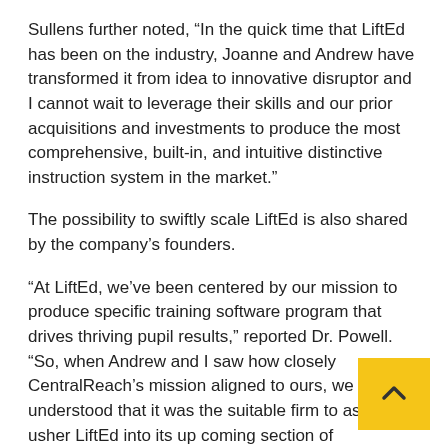Sullens further noted, “In the quick time that LiftEd has been on the industry, Joanne and Andrew have transformed it from idea to innovative disruptor and I cannot wait to leverage their skills and our prior acquisitions and investments to produce the most comprehensive, built-in, and intuitive distinctive instruction system in the market.”
The possibility to swiftly scale LiftEd is also shared by the company’s founders.
“At LiftEd, we’ve been centered by our mission to produce specific training software program that drives thriving pupil results,” reported Dr. Powell. “So, when Andrew and I saw how closely CentralReach’s mission aligned to ours, we understood that it was the suitable firm to assist usher LiftEd into its up coming section of expansion. We are excited to be part of CentralReach and integrate into far more school partnerships supporting IEP implementation and college student achievement within and outside the house the classroom.”